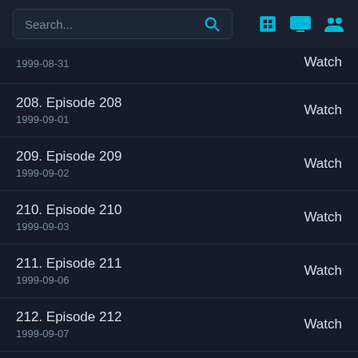Search...
1999-08-31 | Watch
208. Episode 208 | 1999-09-01 | Watch
209. Episode 209 | 1999-09-02 | Watch
210. Episode 210 | 1999-09-03 | Watch
211. Episode 211 | 1999-09-06 | Watch
212. Episode 212 | 1999-09-07 | Watch
213. Episode 213 | Watch